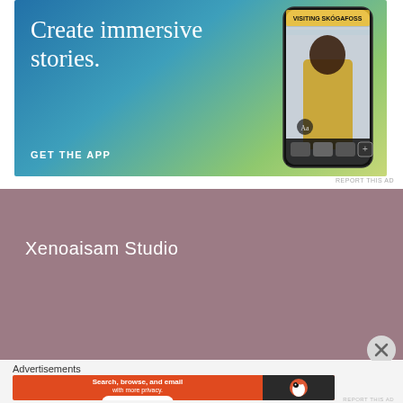[Figure (screenshot): Advertisement banner for an app. Blue to yellow-green gradient background. Left side shows large white serif text: 'Create immersive stories.' with 'GET THE APP' call to action below. Right side shows a smartphone mockup with 'VISITING SKOGAFOSS' visible on screen.]
REPORT THIS AD
[Figure (screenshot): Mauve/dusty rose colored rectangle with white text reading 'Xenoaisam Studio'. Close (X) button visible at bottom right.]
Advertisements
[Figure (screenshot): DuckDuckGo advertisement banner. Orange/red background. Text: 'Search, browse, and email with more privacy. All in One Free App'. DuckDuckGo logo duck icon on right side.]
REPORT THIS AD